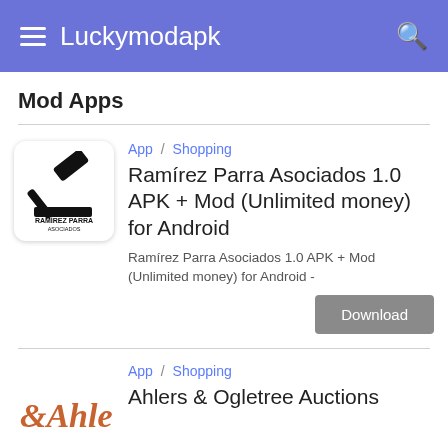Luckymodapk
Mod Apps
App / Shopping
Ramírez Parra Asociados 1.0 APK + Mod (Unlimited money) for Android
Ramírez Parra Asociados 1.0 APK + Mod (Unlimited money) for Android -
Download
App / Shopping
Ahlers & Ogletree Auctions